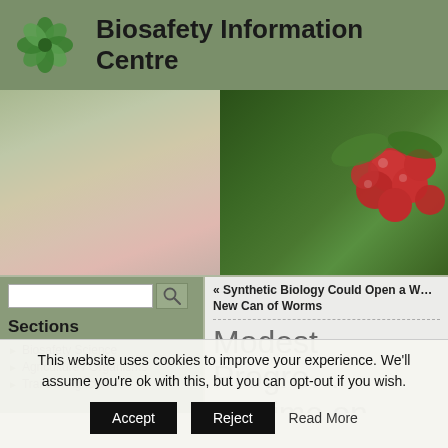Biosafety Information Centre
[Figure (photo): Banner image showing blurred pink flowers on the left and red berries on a green plant on the right]
« Synthetic Biology Could Open a Whole New Can of Worms
Sections
Biosafety Science
Agriculture / Organisms
Traits in Agriculture
Modest Progre… Regime on GM…
This website uses cookies to improve your experience. We'll assume you're ok with this, but you can opt-out if you wish.